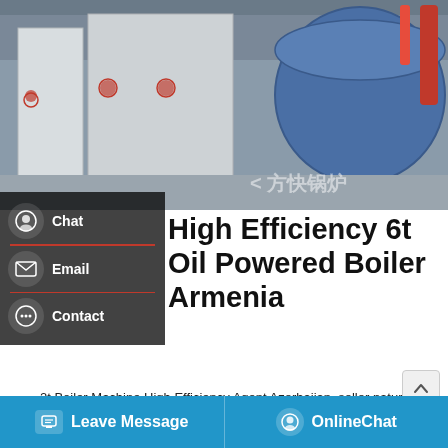[Figure (photo): Industrial boiler equipment photo showing large white rectangular metal enclosures and a large blue cylindrical boiler with red piping, with Chinese watermark text '方快锅炉' (Fangkuai Boiler)]
High Efficiency 6t Oil Powered Boiler Armenia
2t Boiler Machine High Efficiency Agent Azerbaijan. seller natural gas boiler industrial armenia. Industrial Agent 6t Natural Gas steam boiler Armenia Product Name: WNS dual internal furnace shell boiler fuel gas steam boiler Product type: WNS type 6 30 Working pressure of the boilers temperature (0C) 193226 For fuel: Light
[Figure (screenshot): Left sidebar with dark background showing Chat and Email icons, and Contact icon with speech bubble]
[Figure (infographic): Save Stickers on WhatsApp banner with phone and WeChat icons on purple/pink gradient background]
Leave Message    OnlineChat